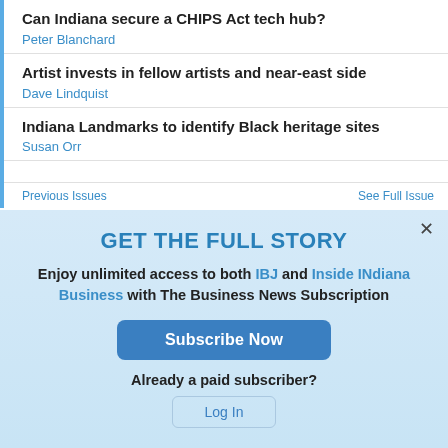Can Indiana secure a CHIPS Act tech hub?
Peter Blanchard
Artist invests in fellow artists and near-east side
Dave Lindquist
Indiana Landmarks to identify Black heritage sites
Susan Orr
Previous Issues
See Full Issue
GET THE FULL STORY
Enjoy unlimited access to both IBJ and Inside INdiana Business with The Business News Subscription
Subscribe Now
Already a paid subscriber?
Log In